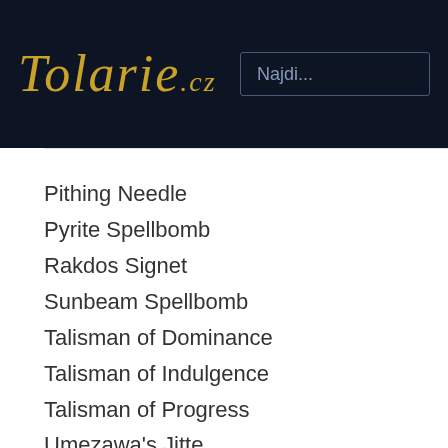Tolarie.cz
Pithing Needle
Pyrite Spellbomb
Rakdos Signet
Sunbeam Spellbomb
Talisman of Dominance
Talisman of Indulgence
Talisman of Progress
Umezawa's Jitte
Urza's Bauble
Winter Orb
Planeswalkers (8)
Chandra, Torch of Defiance
Daretti, Ingenious Iconoclast
Jace, the Mind Sculptor